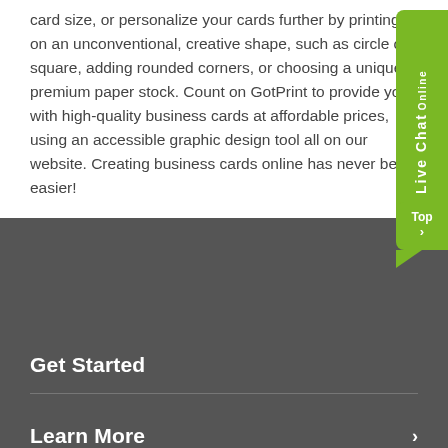card size, or personalize your cards further by printing on an unconventional, creative shape, such as circle or square, adding rounded corners, or choosing a unique premium paper stock. Count on GotPrint to provide you with high-quality business cards at affordable prices, using an accessible graphic design tool all on our website. Creating business cards online has never been easier!
[Figure (other): Live Chat Online widget — a green vertically-oriented speech bubble with text 'Live Chat' and 'Online', with a 'Top' button below]
Get Started
Learn More
Who We Are